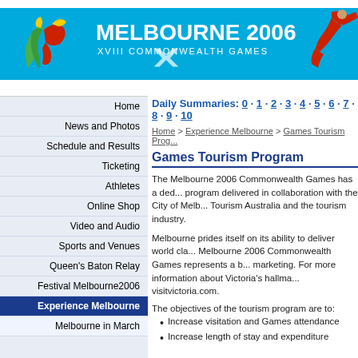[Figure (illustration): Melbourne 2006 XVIII Commonwealth Games banner with blue background, stylized bird logo in green/yellow/red, text 'MELBOURNE 2006 XVIII COMMONWEALTH GAMES', and a gymnast athlete in red on the right.]
Home
News and Photos
Schedule and Results
Ticketing
Athletes
Online Shop
Video and Audio
Sports and Venues
Queen's Baton Relay
Festival Melbourne2006
Experience Melbourne
Melbourne in March
Daily Summaries: 0 · 1 · 2 · 3 · 4 · 5 · 6 · 7 · 8 · 9 · 10
Home > Experience Melbourne > Games Tourism Prog...
Games Tourism Program
The Melbourne 2006 Commonwealth Games has a dedicated tourism program delivered in collaboration with the City of Melbourne, Tourism Australia and the tourism industry.
Melbourne prides itself on its ability to deliver world class events. The Melbourne 2006 Commonwealth Games represents a b... marketing. For more information about Victoria's hallma... visitvictoria.com.
The objectives of the tourism program are to:
Increase visitation and Games attendance
Increase length of stay and expenditure